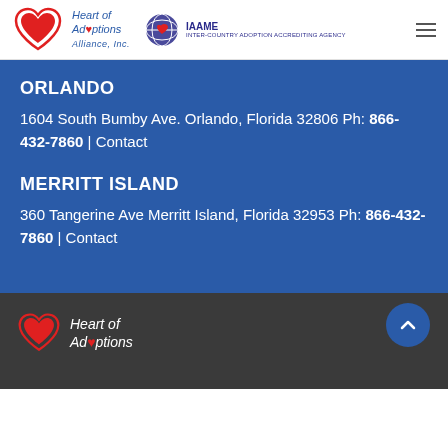[Figure (logo): Heart of Adoptions Alliance, Inc. logo with red heart and cursive text, alongside IAAME globe/heart logo]
ORLANDO
1604 South Bumby Ave. Orlando, Florida 32806 Ph: 866-432-7860 | Contact
MERRITT ISLAND
360 Tangerine Ave Merritt Island, Florida 32953 Ph: 866-432-7860 | Contact
[Figure (logo): Heart of Adoptions Alliance logo in footer (white/red version)]